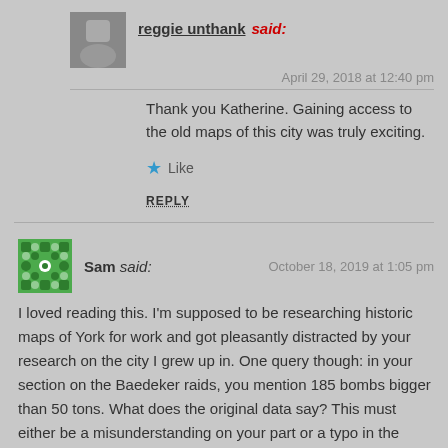reggie unthank said:
April 29, 2018 at 12:40 pm
Thank you Katherine. Gaining access to the old maps of this city was truly exciting.
Like
REPLY
Sam said:
October 18, 2019 at 1:05 pm
I loved reading this. I'm supposed to be researching historic maps of York for work and got pleasantly distracted by your research on the city I grew up in. One query though: in your section on the Baedeker raids, you mention 185 bombs bigger than 50 tons. What does the original data say? This must either be a misunderstanding on your part or a typo in the original document, as the largest Luftwaffe bombs of WWII were